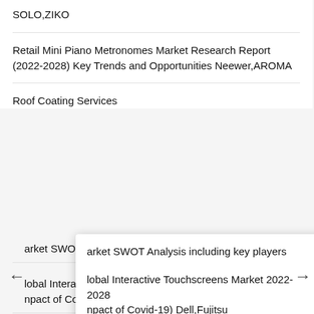SOLO,ZIKO
Retail Mini Piano Metronomes Market Research Report (2022-2028) Key Trends and Opportunities Neewer,AROMA
Roof Coating Services
arket SWOT Analysis including key players
lobal Interactive Touchscreens Market 2022-2028
npact of Covid-19) Dell,Fujitsu
Revenue Growth Predicted for Roof Moss Removal Services Market by 2028
Global Roof Moss Prevention Treatment Industry Supply and Demand Analysis and Development Prospect Research Report by 2022-2028